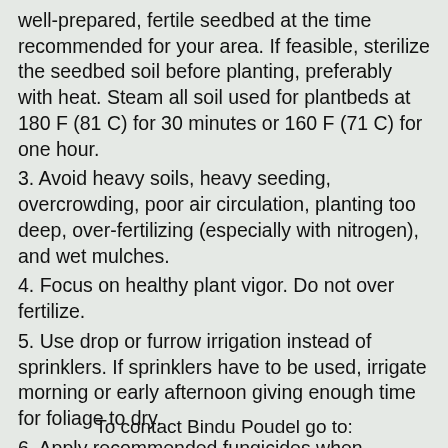well-prepared, fertile seedbed at the time recommended for your area. If feasible, sterilize the seedbed soil before planting, preferably with heat. Steam all soil used for plantbeds at 180 F (81 C) for 30 minutes or 160 F (71 C) for one hour.
3. Avoid heavy soils, heavy seeding, overcrowding, poor air circulation, planting too deep, over-fertilizing (especially with nitrogen), and wet mulches.
4. Focus on healthy plant vigor. Do not over fertilize.
5. Use drop or furrow irrigation instead of sprinklers. If sprinklers have to be used, irrigate morning or early afternoon giving enough time for foliage to dry.
6. Apply recommended fungicides when conditions favor disease development. Make sure to rotate fungicide to avoid development of resistance.
To contact Bindu Poudel go to: